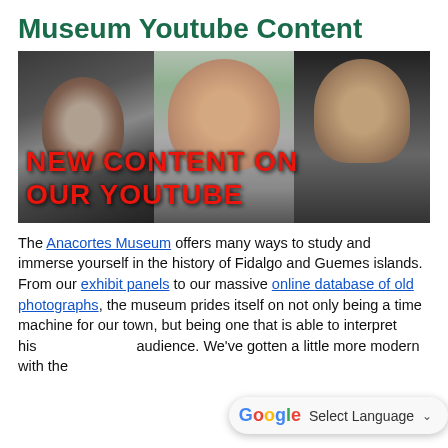Museum Youtube Content
[Figure (photo): Composite image of three historical/portrait photos side by side. Left: black and white photo of a bearded man in formal attire. Center: color photo of a woman in a plaid shirt outdoors. Right: close-up photo of an older bearded man in a hat. Bold red text overlay reads 'NEW CONTENT ON OUR YOUTUBE'.]
The Anacortes Museum offers many ways to study and immerse yourself in the history of Fidalgo and Guemes islands. From our exhibit panels to our massive online database of old photographs, the museum prides itself on not only being a time machine for our town, but being one that is able to interpret his audience. We've gotten a little more modern with the launch of our official...